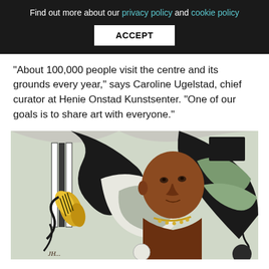Find out more about our privacy policy and cookie policy ACCEPT
“About 100,000 people visit the centre and its grounds every year,” says Caroline Ugelstad, chief curator at Henie Onstad Kunstsenter. “One of our goals is to share art with everyone.”
[Figure (illustration): A Fernand Léger-style painting showing a figure (woman with short hair and necklace) in the center-right, with bold black swooping shapes, a striped column on the left, yellow husks or petals, and green/white/black swirling background elements.]